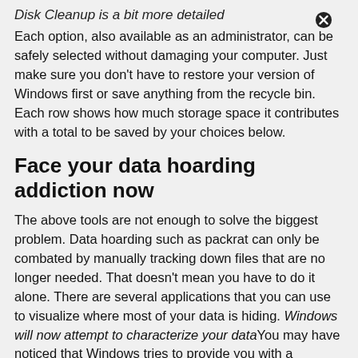Disk Cleanup is a bit more detailed
Each option, also available as an administrator, can be safely selected without damaging your computer. Just make sure you don't have to restore your version of Windows first or save anything from the recycle bin. Each row shows how much storage space it contributes with a total to be saved by your choices below.
Face your data hoarding addiction now
The above tools are not enough to solve the biggest problem. Data hoarding such as packrat can only be combated by manually tracking down files that are no longer needed. That doesn't mean you have to do it alone. There are several applications that you can use to visualize where most of your data is hiding. Windows will now attempt to characterize your dataYou may have noticed that Windows tries to provide you with a breakdown of your data into different categories in the above process. For example, Settings > System > Storage shows my computer occupies 826GB of video, 324GB of